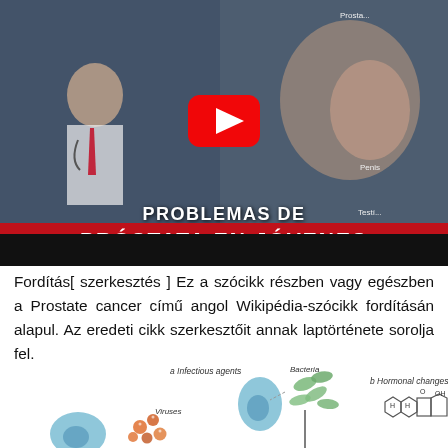[Figure (screenshot): YouTube video thumbnail showing a doctor in white coat with stethoscope, anatomical prostate illustration on the right, red YouTube play button in center, text 'PROBLEMAS DE PRÓSTATA EN JÓVENES' overlaid on a dark background.]
Fordítás[ szerkesztés ] Ez a szócikk részben vagy egészben a Prostate cancer című angol Wikipédia-szócikk fordításán alapul. Az eredeti cikk szerkesztőit annak laptörténete sorolja fel.
[Figure (illustration): Medical illustration showing 'a Infectious agents' panel with Viruses and Bacteria labels, depicting cell interactions with viruses (red/orange particles) and bacteria (green oval shapes) with a blue cell, and 'b Hormonal changes' panel on the right showing a steroid hormone chemical structure.]